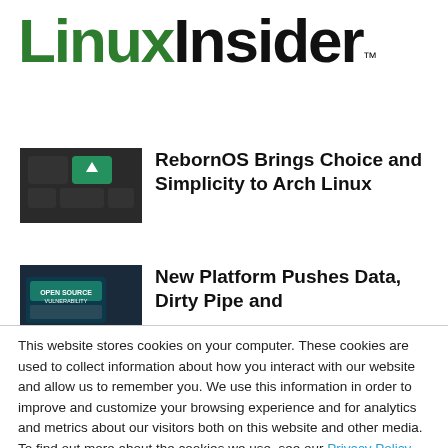[Figure (logo): LinuxInsider logo with green 'Linux' and black 'Insider' text, trademark symbol]
[Figure (photo): Keyboard key with Arch Linux / tux logo icon, green teal color]
RebornOS Brings Choice and Simplicity to Arch Linux
[Figure (photo): Open Source Vulnerability badge/label on dark background]
New Platform Pushes Data, Dirty Pipe and
This website stores cookies on your computer. These cookies are used to collect information about how you interact with our website and allow us to remember you. We use this information in order to improve and customize your browsing experience and for analytics and metrics about our visitors both on this website and other media. To find out more about the cookies we use, see our Privacy Policy. California residents have the right to direct us not to sell their personal information to third parties by filing an Opt-Out Request: Do Not Sell My Personal Info.